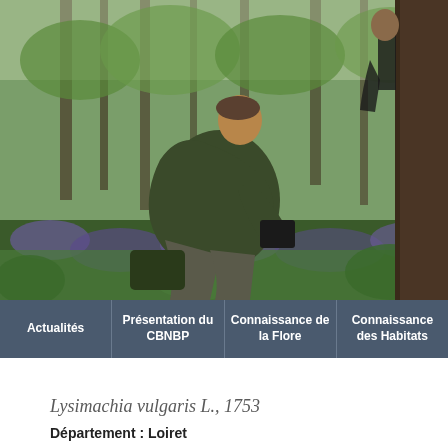[Figure (photo): Field botanist sitting outdoors in a woodland with bluebells, writing notes on a clipboard or tablet, surrounded by green vegetation and trees. A second person is partially visible climbing a tree in the background.]
Actualités | Présentation du CBNBP | Connaissance de la Flore | Connaissance des Habitats
Lysimachia vulgaris L., 1753
Département : Loiret